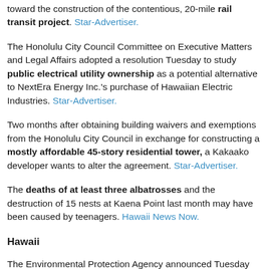toward the construction of the contentious, 20-mile rail transit project. Star-Advertiser.
The Honolulu City Council Committee on Executive Matters and Legal Affairs adopted a resolution Tuesday to study public electrical utility ownership as a potential alternative to NextEra Energy Inc.'s purchase of Hawaiian Electric Industries. Star-Advertiser.
Two months after obtaining building waivers and exemptions from the Honolulu City Council in exchange for constructing a mostly affordable 45-story residential tower, a Kakaako developer wants to alter the agreement. Star-Advertiser.
The deaths of at least three albatrosses and the destruction of 15 nests at Kaena Point last month may have been caused by teenagers. Hawaii News Now.
Hawaii
The Environmental Protection Agency announced Tuesday that Puna Geothermal Venture agreed to pay a civil penalty